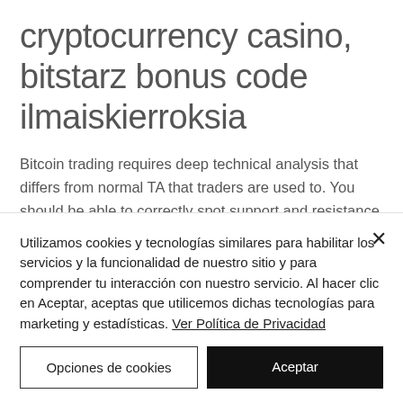cryptocurrency casino, bitstarz bonus code ilmaiskierroksia
Bitcoin trading requires deep technical analysis that differs from normal TA that traders are used to. You should be able to correctly spot support and resistance levels, as in usual technical analysis, and get yourself familiar with the current web and cryptocurrency trends. We advise you to get
Utilizamos cookies y tecnologías similares para habilitar los servicios y la funcionalidad de nuestro sitio y para comprender tu interacción con nuestro servicio. Al hacer clic en Aceptar, aceptas que utilicemos dichas tecnologías para marketing y estadísticas. Ver Política de Privacidad
Opciones de cookies
Aceptar